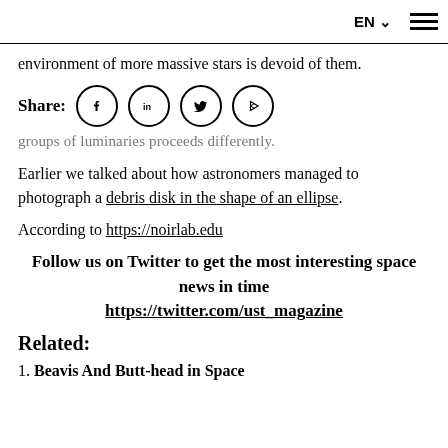EN ▾  ≡
environment of more massive stars is devoid of them.
Share: [facebook] [in] [twitter] [telegram]
groups of luminaries proceeds differently.
Earlier we talked about how astronomers managed to photograph a debris disk in the shape of an ellipse.
According to https://noirlab.edu
Follow us on Twitter to get the most interesting space news in time
https://twitter.com/ust_magazine
Related:
1. Beavis And Butt-head in Space